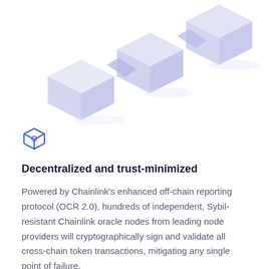[Figure (illustration): Isometric 3D blockchain cubes connected in a chain, rendered in light lavender/periwinkle colors on white background, floating in upper portion of the page]
[Figure (illustration): Small blue outlined cube/box icon]
Decentralized and trust-minimized
Powered by Chainlink's enhanced off-chain reporting protocol (OCR 2.0), hundreds of independent, Sybil-resistant Chainlink oracle nodes from leading node providers will cryptographically sign and validate all cross-chain token transactions, mitigating any single point of failure.